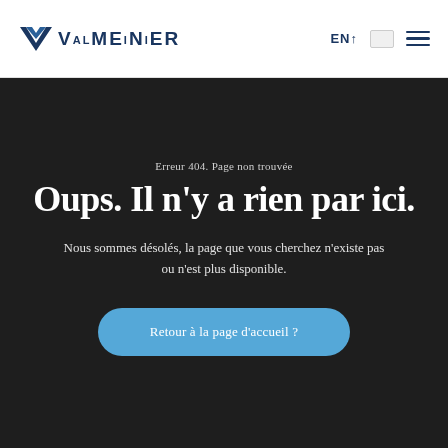VALMEINIER  EN
Erreur 404. Page non trouvée
Oups. Il n'y a rien par ici.
Nous sommes désolés, la page que vous cherchez n'existe pas ou n'est plus disponible.
Retour à la page d'accueil ?